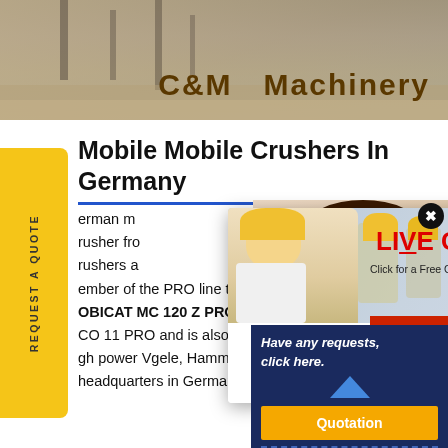[Figure (photo): C&M Machinery header banner with construction site background showing yellow text 'C&M Machinery']
Mobile Mobile Crushers In Germany
erman m... rusher fro... rushers a... ember of the PRO line the new mc OBICAT MC 120 Z PRO is the per CO 11 PRO and is also characteris... nd high power Vgele, Hamm, and Benn... headquarters in Germany
[Figure (screenshot): Live Chat popup with workers in hard hats, 'LIVE CHAT Click for a Free Consultation', Chat now and Chat later buttons]
[Figure (photo): Customer service agent woman with headset smiling, with 'Have any requests, click here.' text and Quotation button]